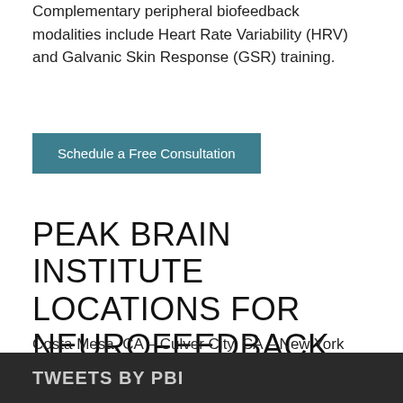Complementary peripheral biofeedback modalities include Heart Rate Variability (HRV) and Galvanic Skin Response (GSR) training.
Schedule a Free Consultation
PEAK BRAIN INSTITUTE LOCATIONS FOR NEUROFEEDBACK
Costa Mesa, CA – Culver City, CA – New York City, NY – St. Louis, MO
TWEETS BY PBI